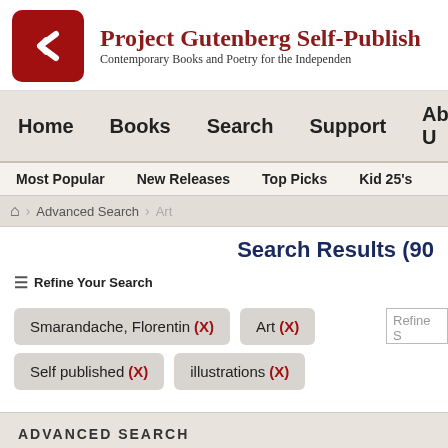[Figure (logo): Project Gutenberg Self-Publishing logo: red rounded square with white G chevron icon]
Project Gutenberg Self-Publish
Contemporary Books and Poetry for the Independen
Home  Books  Search  Support  About U
Most Popular  New Releases  Top Picks  Kid 25's
Advanced Search  Art
Search Results (90
Refine Your Search
Smarandache, Florentin (X)  Art (X)  Self published (X)  illustrations (X)
ADVANCED SEARCH